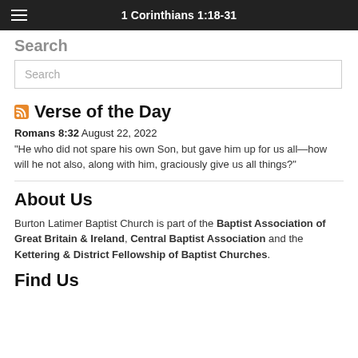1 Corinthians 1:18-31
Search
Search
Verse of the Day
Romans 8:32 August 22, 2022
“He who did not spare his own Son, but gave him up for us all—how will he not also, along with him, graciously give us all things?”
About Us
Burton Latimer Baptist Church is part of the Baptist Association of Great Britain & Ireland, Central Baptist Association and the Kettering & District Fellowship of Baptist Churches.
Find Us